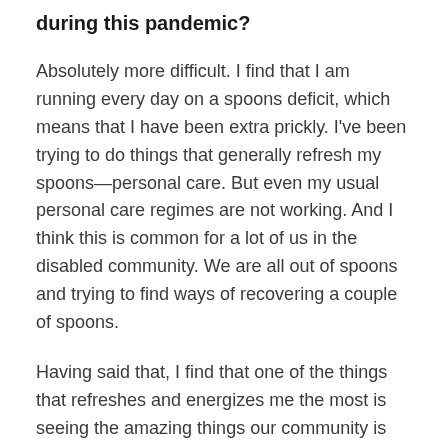during this pandemic?
Absolutely more difficult. I find that I am running every day on a spoons deficit, which means that I have been extra prickly. I've been trying to do things that generally refresh my spoons—personal care. But even my usual personal care regimes are not working. And I think this is common for a lot of us in the disabled community. We are all out of spoons and trying to find ways of recovering a couple of spoons.
Having said that, I find that one of the things that refreshes and energizes me the most is seeing the amazing things our community is doing. I've been trying to create community spaces for sharing art and resources, and I've been empowered by all of the acts of community and care I've been seeing, particularly from marginalized people. We've